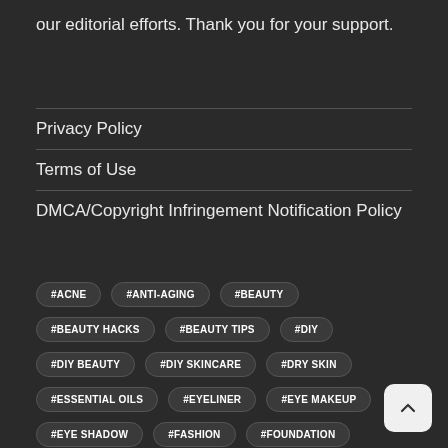our editorial efforts. Thank you for your support.
Privacy Policy
Terms of Use
DMCA/Copyright Infringement Notification Policy
#ACNE
#ANTI-AGING
#BEAUTY
#BEAUTY HACKS
#BEAUTY TIPS
#DIY
#DIY BEAUTY
#DIY SKINCARE
#DRY SKIN
#ESSENTIAL OILS
#EYELINER
#EYE MAKEUP
#EYE SHADOW
#FASHION
#FOUNDATION